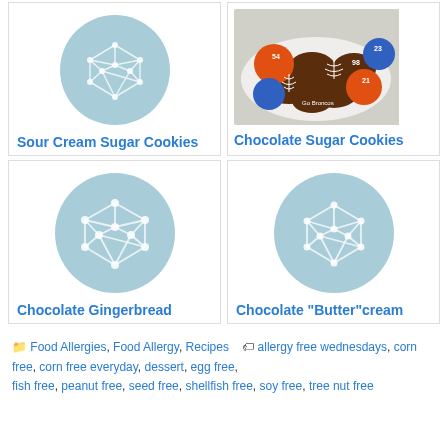[Figure (illustration): Recipe card with circular light blue placeholder icon showing a network/mesh diamond shape - Sour Cream Sugar Cookies]
Sour Cream Sugar Cookies
[Figure (photo): Photo of chocolate and orange/blue decorated football cookies on a plate with 'Go Broncos' text - Chocolate Sugar Cookies]
Chocolate Sugar Cookies
[Figure (illustration): Recipe card with circular light blue placeholder icon showing a network/mesh diamond shape - Chocolate Gingerbread]
Chocolate Gingerbread
[Figure (illustration): Recipe card with circular light blue placeholder icon showing a network/mesh diamond shape - Chocolate Butter cream]
Chocolate "Butter"cream
Food Allergies, Food Allergy, Recipes   allergy free wednesdays, corn free, corn free everyday, dessert, egg free, fish free, peanut free, seed free, shellfish free, soy free, tree nut free